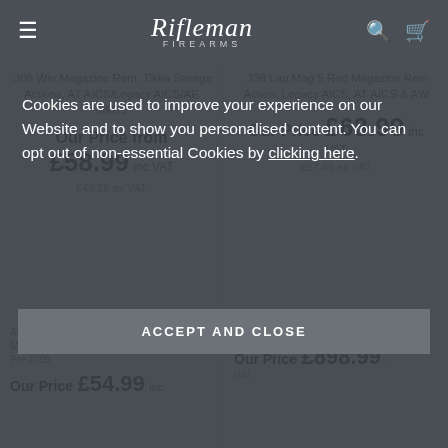Rifleman Firearms
.308 Win Magazine Rem, Tikka Savage Actions, AT AICS/Legacy AICS/AE Mk2/3
Our Price from £58.99 inc VAT
£49.16 ex VAT
.338 Lap Mag 5 Rnd Magazine Rem Action, Legacy AICS, AT AICS & AW
Our Price £68.99 inc VAT
£57.49 ex VAT
Cookies are used to improve your experience on our Website and to show you personalised content. You can opt out of non-essential Cookies by clicking here.
ACCEPT AND CLOSE
Accuracy International AE Magazine Pre 2009
Our Price £54.99 inc
Accuracy International Magazine
Our Price £898.99 VAT